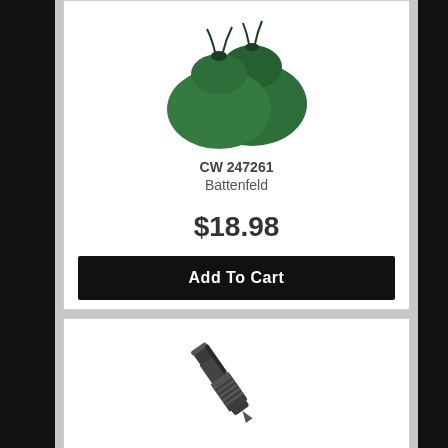[Figure (photo): Green sandbag / shooting bag product photo on white background]
CW 247261
Battenfeld
$18.98
Add To Cart
[Figure (photo): Tactical pen product photo on white background, dark metallic pen with grip ridges and pointed tip]